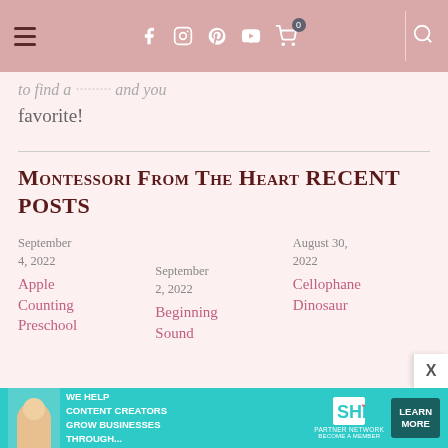Navigation bar with hamburger menu, social icons (Facebook, Instagram, Pinterest, YouTube), cart (0), and search
to find a ... and you find your favorite!
Montessori From The Heart RECENT POSTS
September 4, 2022
Apple Counting Preschool
September 2, 2022
Beginning Sound...
August 30, 2022
Cellophane Dinosaur
[Figure (photo): Advertisement banner: SHE Partner Network - We help content creators grow businesses through... Learn More button]
X